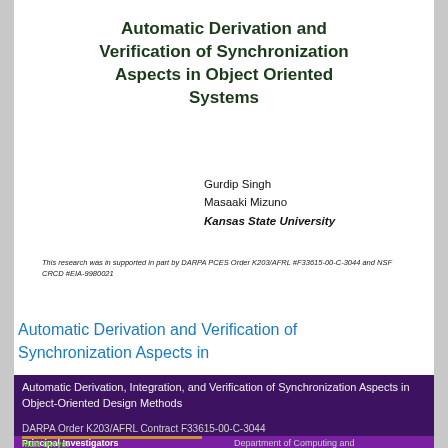Automatic Derivation and Verification of Synchronization Aspects in Object Oriented Systems
Gurdip Singh
Masaaki Mizuno
Kansas State University
This research was in supported in part by DARPA PCES Order K203/AFRL #F33615-00-C-3044 and NSF CRCD #EIA-9980021
Automatic Derivation and Verification of Synchronization Aspects in
[Figure (other): Purple/dark background section showing title 'Automatic Derivation, Integration, and Verification of Synchronization Aspects in Object-Oriented Design Methods', DARPA Order K203/AFRL Contract F33615-00-C-3044, Principal Investigators section with Matt Dwyer, Department of Computing and...]